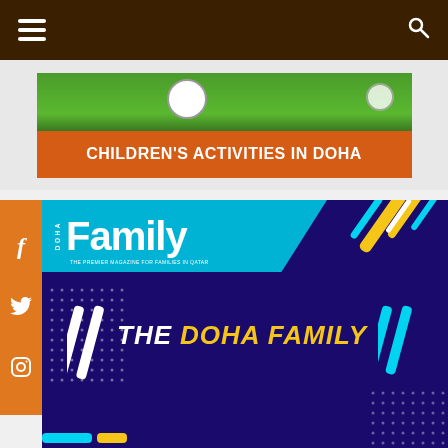Navigation bar with hamburger menu and search icon
[Figure (illustration): Banner advertisement for Children's Activities in Doha showing soccer balls on grass with orange strip text]
[Figure (illustration): Doha Family magazine cover image on dark purple/navy background with cyan header band showing 'DOHA Family' logo and large text 'THE DOHA FAMILY' in white and yellow]
[Figure (infographic): Orange social media sidebar with Facebook, Twitter, and Instagram icons]